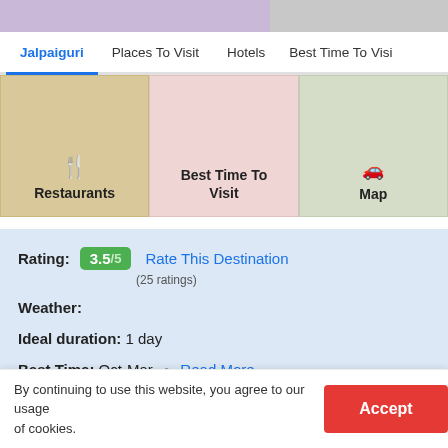[Figure (screenshot): Top banner images - purple/lavender banner on left, grey banner on right]
Jalpaiguri | Places To Visit | Hotels | Best Time To Visit
[Figure (infographic): Three category cards: Restaurants (tan/beige background), Best Time To Visit (pink background), Map (sage green background)]
Rating: 3.5 /5  Rate This Destination
(25 ratings)
Weather:
Ideal duration: 1 day
Best Time: Oct-Mar · Read More
Planning a Trip? Ask Your Question
By continuing to use this website, you agree to our usage of cookies.
Accept